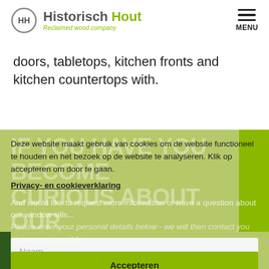[Figure (logo): Historisch Hout logo with HH icon and tagline 'Reclaimed wood company']
doors, tabletops, kitchen fronts and kitchen countertops with.
IF YOU HAVE YOU BECOME CURIOUS ABOUT OUR PRODUCTS
Deze website maakt gebruik van cookies om de website functioneel te houden en het bezoek op de website te analyseren. Klik op accepteren om door te gaan.
Privacy- en cookieverklaring
And would like to request more information or have a question about our window sills...
Please enter your personal details below - we will then contact you as soon as possible.
Accepteren
Naam